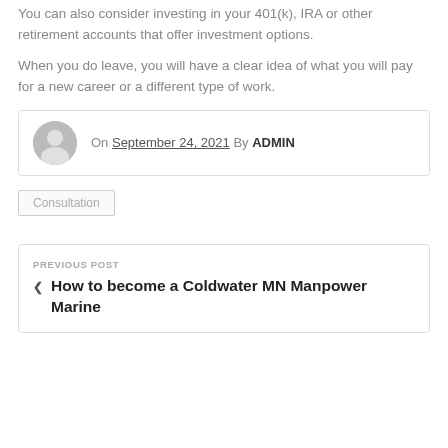You can also consider investing in your 401(k), IRA or other retirement accounts that offer investment options.
When you do leave, you will have a clear idea of what you will pay for a new career or a different type of work.
On September 24, 2021 By ADMIN
Consultation
PREVIOUS POST
How to become a Coldwater MN Manpower Marine